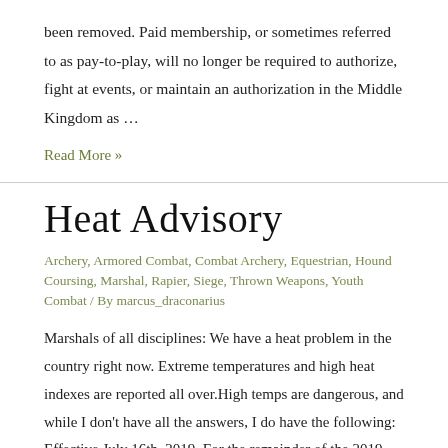been removed. Paid membership, or sometimes referred to as pay-to-play, will no longer be required to authorize, fight at events, or maintain an authorization in the Middle Kingdom as …
Read More »
Heat Advisory
Archery, Armored Combat, Combat Archery, Equestrian, Hound Coursing, Marshal, Rapier, Siege, Thrown Weapons, Youth Combat / By marcus_draconarius
Marshals of all disciplines: We have a heat problem in the country right now. Extreme temperatures and high heat indexes are reported all over.High temps are dangerous, and while I don't have all the answers, I do have the following: Effective July 16th, 2019. For the remainder of the 2019 outdoor activity season in the …